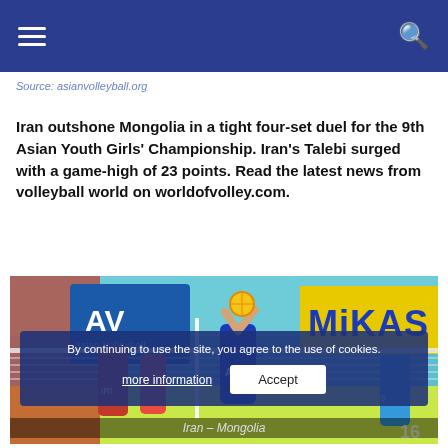Source: asianvolleyball.org
Iran outshone Mongolia in a tight four-set duel for the 9th Asian Youth Girls' Championship. Iran's Talebi surged with a game-high of 23 points. Read the latest news from volleyball world on worldofvolley.com.
[Figure (photo): Volleyball match action photo: players from Iran (red uniforms) and Mongolia (blue uniforms, player #11) at the net during the 9th Asian Youth Girls' Championship. Asian Volleyball Confederation (AVC) and Mikasa branding visible in the background.]
By continuing to use the site, you agree to the use of cookies.
Iran – Mongolia